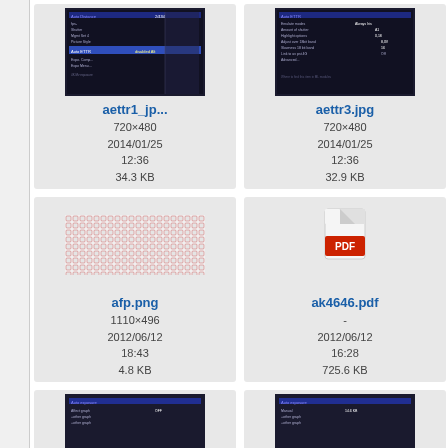[Figure (screenshot): File browser grid showing image and document thumbnails with filenames, dimensions, dates, and file sizes]
aettr1_jp...
720×480
2014/01/25 12:36
34.3 KB
aettr3.jpg
720×480
2014/01/25 12:36
32.9 KB
afp.png
1110×496
2012/06/12 18:43
4.8 KB
ak4646.pdf
-
2012/06/12 16:28
725.6 KB